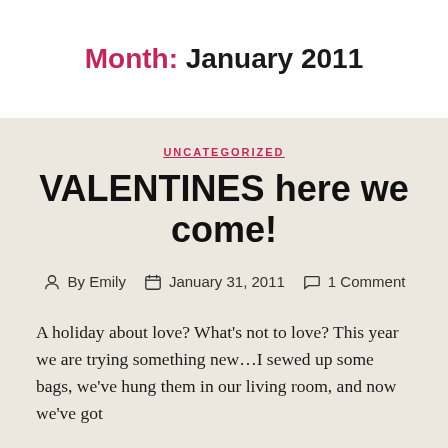Month: January 2011
UNCATEGORIZED
VALENTINES here we come!
By Emily   January 31, 2011   1 Comment
A holiday about love? What's not to love? This year we are trying something new…I sewed up some bags, we've hung them in our living room, and now we've got